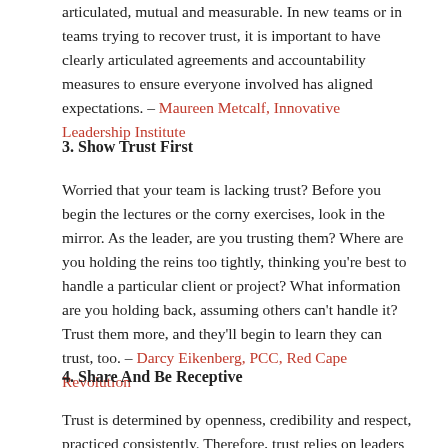articulated, mutual and measurable. In new teams or in teams trying to recover trust, it is important to have clearly articulated agreements and accountability measures to ensure everyone involved has aligned expectations. – Maureen Metcalf, Innovative Leadership Institute
3. Show Trust First
Worried that your team is lacking trust? Before you begin the lectures or the corny exercises, look in the mirror. As the leader, are you trusting them? Where are you holding the reins too tightly, thinking you're best to handle a particular client or project? What information are you holding back, assuming others can't handle it? Trust them more, and they'll begin to learn they can trust, too. – Darcy Eikenberg, PCC, Red Cape Revolution
4. Share And Be Receptive
Trust is determined by openness, credibility and respect, practiced consistently. Therefore, trust relies on leaders being consistent and letting others know what to expect. Leaders must foster an